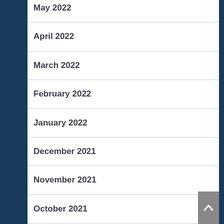May 2022
April 2022
March 2022
February 2022
January 2022
December 2021
November 2021
October 2021
September 2021
August 2021